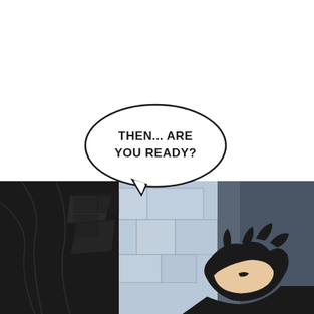[Figure (illustration): Manga/manhwa page panel. Top half is white with a speech bubble. Bottom half shows a manga scene: a figure in a black cloak on the left side with stone/brick wall background in blue-gray tones, and a character with dark spiky hair visible on the right side, partially cut off.]
THEN... ARE YOU READY?